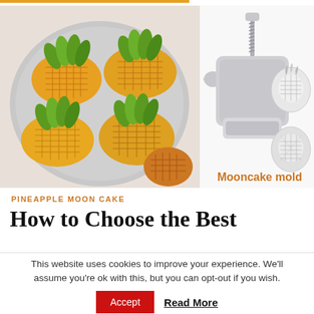[Figure (photo): Left side: pineapple-shaped mooncakes on a plate, decorated with green tops and yellow bodies with a grid pattern. Right side: a white plastic mooncake mold press with two pineapple-shaped stamp inserts. Text label 'Mooncake mold' in orange.]
PINEAPPLE MOON CAKE
How to Choose the Best
This website uses cookies to improve your experience. We'll assume you're ok with this, but you can opt-out if you wish.